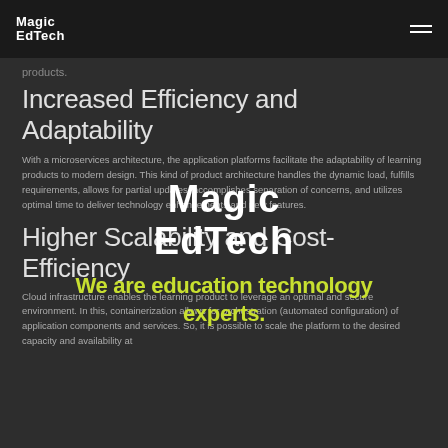Magic EdTech
products.
Increased Efficiency and Adaptability
With a microservices architecture, the application platforms facilitate the adaptability of learning products to modern design. This kind of product architecture handles the dynamic load, fulfills requirements, allows for partial updates, accomplishes separation of concerns, and utilizes optimal time to deliver technology enhancements and new features.
[Figure (logo): Magic EdTech logo watermark overlay with tagline 'We are education technology experts.']
Higher Scalability and Cost-Efficiency
Cloud infrastructure enables the learning product to leverage an optimal and secure environment. In this, containerization allows for orchestration (automated configuration) of application components and services. So, it is possible to scale the platform to the desired capacity and availability at